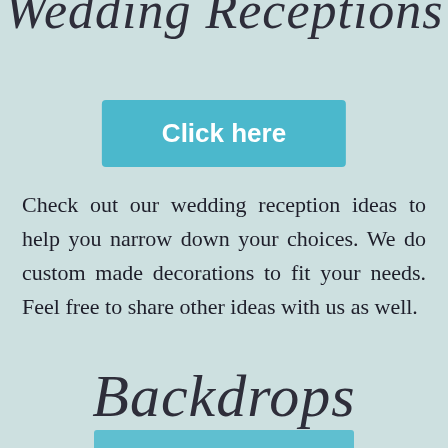Wedding Receptions
[Figure (other): Teal/blue button with text 'Click here']
Check out our wedding reception ideas to help you narrow down your choices. We do custom made decorations to fit your needs. Feel free to share other ideas with us as well.
Backdrops